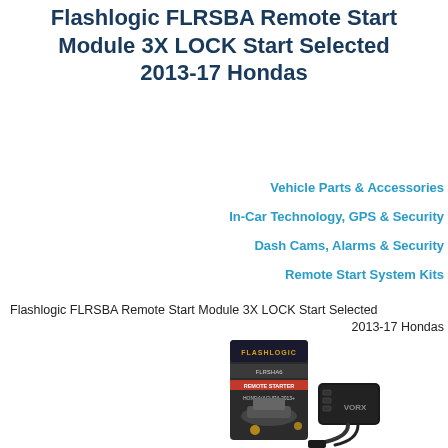Flashlogic FLRSBA Remote Start Module 3X LOCK Start Selected 2013-17 Hondas
Vehicle Parts & Accessories
In-Car Technology, GPS & Security
Dash Cams, Alarms & Security
Remote Start System Kits
Flashlogic FLRSBA Remote Start Module 3X LOCK Start Selected
2013-17 Hondas
[Figure (photo): Product photo of Flashlogic FLRSHA6 Remote Starter module for Honda/Acura 2013+, showing product box and hardware components including a black module and cable.]